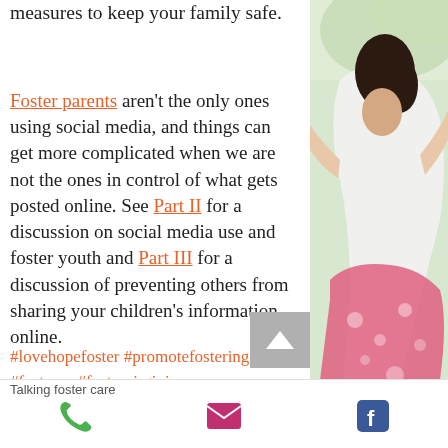important to make sure you take measures to keep your family safe.
Foster parents aren't the only ones using social media, and things can get more complicated when we are not the ones in control of what gets posted online. See Part II for a discussion on social media use and foster youth and Part III for a discussion of preventing others from sharing your children's information online.
#lovehopefoster #promotefostering #fosterva #fostervirginia
[Figure (photo): Partial photo of a person (child or young person) in a white top and patterned skirt, outdoors with greenery in background]
Talking foster care